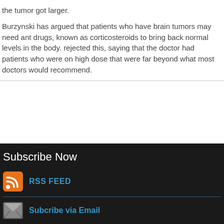the tumor got larger.
Burzynski has argued that patients who have brain tumors may need anti drugs, known as corticosteroids to bring back normal levels in the body. But rejected this, saying that the doctor had patients who were on high doses that were far beyond what most doctors would recommend.
Subscribe Now
RSS FEED
Subcribe via Email